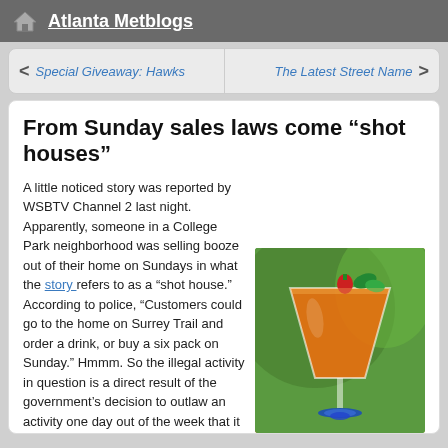Atlanta Metblogs
< Special Giveaway: Hawks
The Latest Street Name >
From Sunday sales laws come “shot houses”
A little noticed story was reported by WSBTV Channel 2 last night. Apparently, someone in a College Park neighborhood was selling booze out of their home on Sundays in what the story refers to as a “shot house.” According to police, “Customers could go to the home on Surrey Trail and order a drink, or buy a six pack on Sunday.” Hmmm. So the illegal activity in question is a direct result of the government’s decision to outlaw an activity one day out of the week that it fully supports and collects taxes on the other six days of the week. WEIRD. After receiving reports from neighbors about a line of cars in front of the home on Sundays, police “conducted surveillance, made traffic stops as customers left, and sent in an officer with a hidden camera. They then returned with a warrant and the SWAT team.” Okay, I get it. Something illegal was going on. And I think the police...
[Figure (photo): A martini glass with an orange cocktail, garnished with a strawberry and mint leaves, with a blue decorative element at the base.]